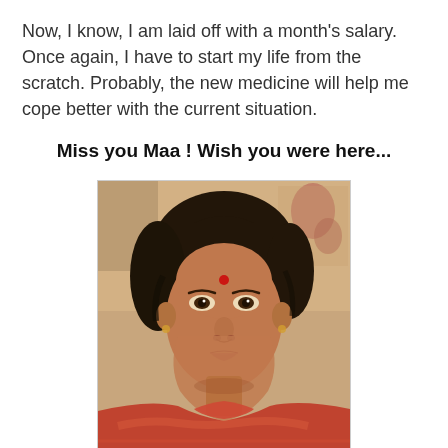Now, I know, I am laid off with a month's salary. Once again, I have to start my life from the scratch. Probably, the new medicine will help me cope better with the current situation.
Miss you Maa ! Wish you were here...
[Figure (photo): A vintage photograph of an Indian woman with dark hair, a red bindi on her forehead, wearing a patterned sari. She is looking directly at the camera with a neutral expression. The photo has warm, faded tones typical of older photographs.]